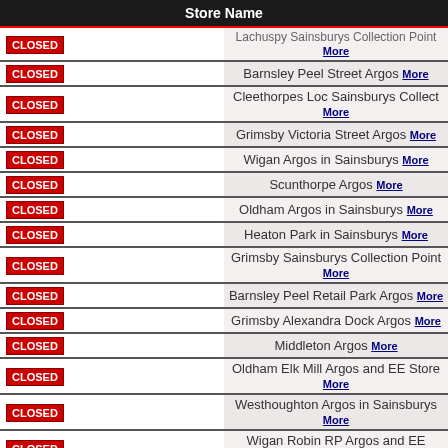| Store Name |
| --- |
| CLOSED | Lachuspy Sainsburys Collection Point More |
| CLOSED | Barnsley Peel Street Argos More |
| CLOSED | Cleethorpes Loc Sainsburys Collect More |
| CLOSED | Grimsby Victoria Street Argos More |
| CLOSED | Wigan Argos in Sainsburys More |
| CLOSED | Scunthorpe Argos More |
| CLOSED | Oldham Argos in Sainsburys More |
| CLOSED | Heaton Park in Sainsburys More |
| CLOSED | Grimsby Sainsburys Collection Point More |
| CLOSED | Barnsley Peel Retail Park Argos More |
| CLOSED | Grimsby Alexandra Dock Argos More |
| CLOSED | Middleton Argos More |
| CLOSED | Oldham Elk Mill Argos and EE Store More |
| CLOSED | Westhoughton Argos in Sainsburys More |
| CLOSED | Wigan Robin RP Argos and EE Stores More |
| CLOSED | Holmfirth Market Walk Sainsburys Collect More |
| CLOSED | Scunthorpe Sainsburys Collection Point More |
| CLOSED | Skelmersdale Argos and EE store More |
| CLOSED | Bolton Sainsburys Collection Point More |
| CLOSED | Bolton Bridge Street Argos More |
| CLOSED | Ormskirk Argos More |
| CLOSED | Bolton Middlebrook Argos More |